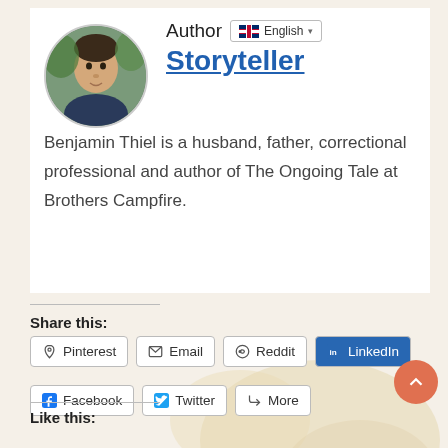[Figure (photo): Circular profile photo of Benjamin Thiel, a man outdoors in front of green foliage]
Author
English (language selector dropdown)
Storyteller
Benjamin Thiel is a husband, father, correctional professional and author of The Ongoing Tale at Brothers Campfire.
Share this:
Pinterest
Email
Reddit
LinkedIn
Facebook
Twitter
More
Like this: